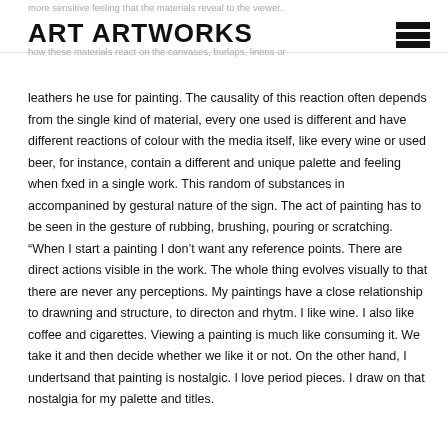more sensitive feeling that the materials reveal to the viewer. ART ARTWORKS the artist slide the point of inter… how these materials react on the canvases, burlaps, linens or
leathers he use for painting. The causality of this reaction often depends from the single kind of material, every one used is different and have different reactions of colour with the media itself, like every wine or used beer, for instance, contain a different and unique palette and feeling when fxed in a single work. This random of substances in accompanined by gestural nature of the sign. The act of painting has to be seen in the gesture of rubbing, brushing, pouring or scratching. “When I start a painting I don’t want any reference points. There are direct actions visible in the work. The whole thing evolves visually to that there are never any perceptions. My paintings have a close relationship to drawning and structure, to directon and rhytm. I like wine. I also like coffee and cigarettes. Viewing a painting is much like consuming it. We take it and then decide whether we like it or not. On the other hand, I undertsand that painting is nostalgic. I love period pieces. I draw on that nostalgia for my palette and titles.